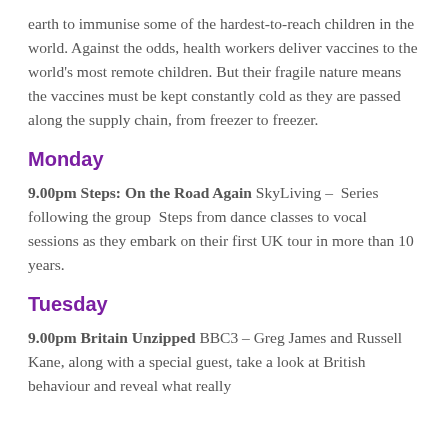earth to immunise some of the hardest-to-reach children in the world. Against the odds, health workers deliver vaccines to the world's most remote children. But their fragile nature means the vaccines must be kept constantly cold as they are passed along the supply chain, from freezer to freezer.
Monday
9.00pm Steps: On the Road Again SkyLiving – Series following the group Steps from dance classes to vocal sessions as they embark on their first UK tour in more than 10 years.
Tuesday
9.00pm Britain Unzipped BBC3 – Greg James and Russell Kane, along with a special guest, take a look at British behaviour and reveal what really